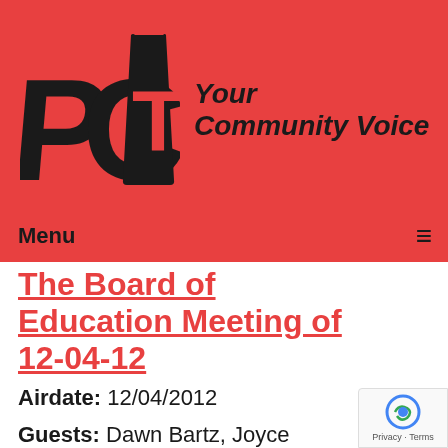[Figure (logo): PCTV logo with text 'Your Community Voice' on red background]
Menu ≡
The Board of Education Meeting of 12-04-12
Airdate: 12/04/2012
Guests: Dawn Bartz, Joyce Connell, Jacob Nemec
Watched: 65 times